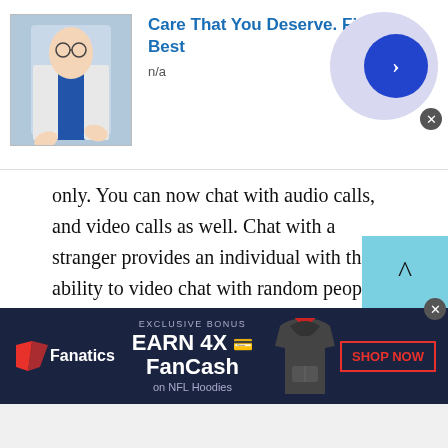[Figure (screenshot): Top advertisement banner: image of a medical professional on the left, bold blue text 'Care That You Deserve. Find the Best', subtext 'n/a', and a navy blue circle with a white right arrow on the right side with a lavender background circle.]
only. You can now chat with audio calls, and video calls as well. Chat with a stranger provides an individual with the ability to video chat with random people of Ethiopia. Through video chat, you can also see how the people in Ethiopia are living. The reason being, there has been a conception around the world that Ethiopia is a poor country. Now since you can chat with people of Ethiopia these things can also be solved easily. Apart from that, it also enables people to make audio calls. The feature of
[Figure (screenshot): Fanatics advertisement banner: dark navy background with Fanatics logo (red wing icon), text 'EXCLUSIVE BONUS', 'EARN 4X FanCash on NFL Hoodies', a hoodie product image, and a 'SHOP NOW' button with red border.]